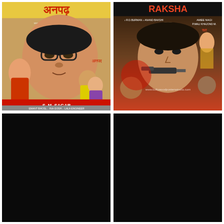[Figure (illustration): Bollywood movie poster for 'Anpad' featuring a large man with glasses dominating the top, with couples below, text 'S.M. SAGAR' at bottom, watermark www.bollywoodpostersstudio.com]
[Figure (illustration): Bollywood movie poster for 'Raksha' featuring a man holding a gun, action scene with multiple characters, watermark www.bollywoodpostersstudio.com, text R.D. BURMAN, ANAND BAKSHI]
[Figure (illustration): Bollywood movie poster - black/very dark image, content indistinguishable]
[Figure (illustration): Bollywood movie poster - black/very dark image, content indistinguishable]